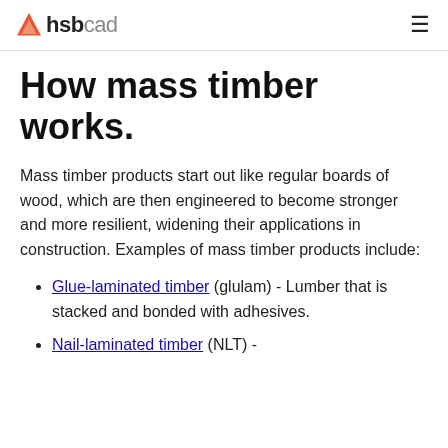hsbcad
How mass timber works.
Mass timber products start out like regular boards of wood, which are then engineered to become stronger and more resilient, widening their applications in construction. Examples of mass timber products include:
Glue-laminated timber (glulam) - Lumber that is stacked and bonded with adhesives.
Nail-laminated timber (NLT) -